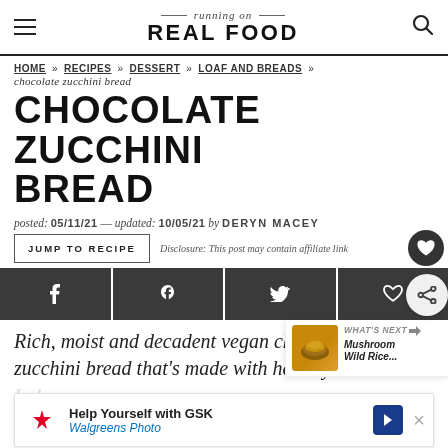running on REAL FOOD
HOME » RECIPES » DESSERT » LOAF AND BREADS » chocolate zucchini bread
CHOCOLATE ZUCCHINI BREAD
posted: 05/11/21 — updated: 10/05/21 by DERYN MACEY
JUMP TO RECIPE  Disclosure: This post may contain affiliate link
[Figure (screenshot): Social share buttons: Facebook, Pinterest, Twitter, heart/share icons]
Rich, moist and decadent vegan chocolate zucchini bread that's made with healthy ingredients
[Figure (infographic): WHAT'S NEXT arrow, Mushroom Wild Rice... thumbnail]
[Figure (infographic): Walgreens ad: Help Yourself with GSK, Walgreens Photo]